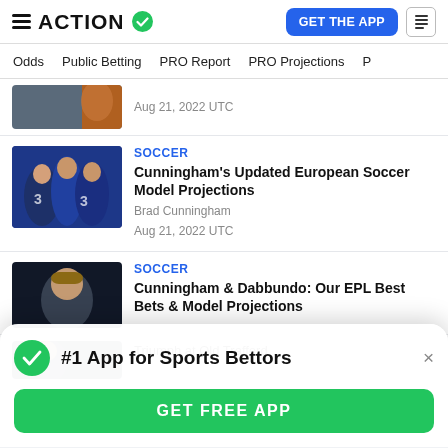ACTION — GET THE APP
Odds | Public Betting | PRO Report | PRO Projections
[Figure (photo): Partial article thumbnail, top of feed]
Aug 21, 2022 UTC
[Figure (photo): Chelsea soccer players celebrating in blue jerseys]
SOCCER
Cunningham's Updated European Soccer Model Projections
Brad Cunningham
Aug 21, 2022 UTC
[Figure (photo): Soccer player portrait, smiling]
SOCCER
Cunningham & Dabbundo: Our EPL Best Bets & Model Projections
[Figure (screenshot): Popup banner: #1 App for Sports Bettors with GET FREE APP button]
#1 App for Sports Bettors
GET FREE APP
Triumph at Old Trafford